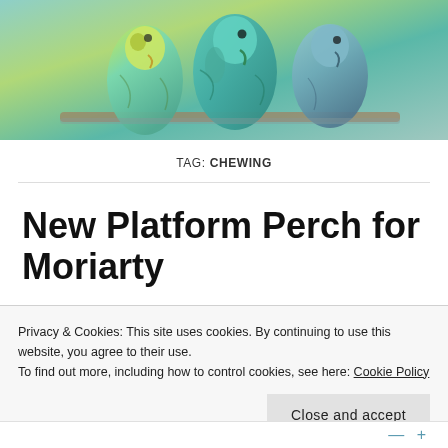[Figure (photo): Two or three colorful budgerigar parakeets (green, teal, yellow-green) perched together, cropped at top of page]
TAG: CHEWING
New Platform Perch for Moriarty
ON 25 AUGUST 2022 / BY ONESWEETIEPEA / 2 COMMENTS
Privacy & Cookies: This site uses cookies. By continuing to use this website, you agree to their use.
To find out more, including how to control cookies, see here: Cookie Policy
Close and accept